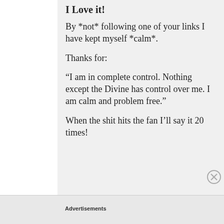I Love it!
By *not* following one of your links I have kept myself *calm*.
Thanks for:
“I am in complete control. Nothing except the Divine has control over me. I am calm and problem free.”
When the shit hits the fan I’ll say it 20 times!
Advertisements